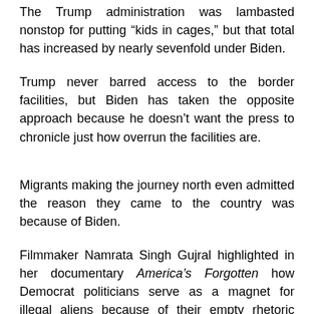The Trump administration was lambasted nonstop for putting “kids in cages,” but that total has increased by nearly sevenfold under Biden.
Trump never barred access to the border facilities, but Biden has taken the opposite approach because he doesn’t want the press to chronicle just how overrun the facilities are.
Migrants making the journey north even admitted the reason they came to the country was because of Biden.
Filmmaker Namrata Singh Gujral highlighted in her documentary America’s Forgotten how Democrat politicians serve as a magnet for illegal aliens because of their empty rhetoric during Presidential debates.